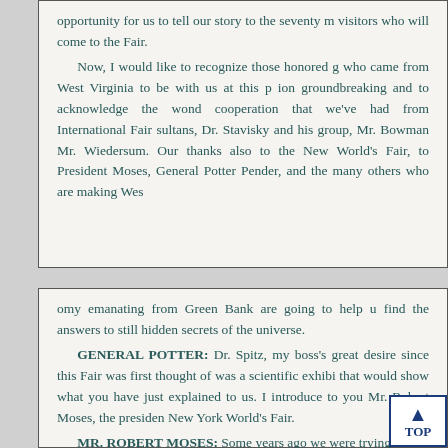opportunity for us to tell our story to the seventy m visitors who will come to the Fair.
    Now, I would like to recognize those honored g who came from West Virginia to be with us at this p ion groundbreaking and to acknowledge the wond cooperation that we've had from International Fair sultans, Dr. Stavisky and his group, Mr. Bowman Mr. Wiedersum. Our thanks also to the New World's Fair, to President Moses, General Potter Pender, and the many others who are making Wes
omy emanating from Green Bank are going to help u find the answers to still hidden secrets of the universe.
    GENERAL POTTER: Dr. Spitz, my boss's great desire since this Fair was first thought of was a scientific exhibi that would show what you have just explained to us. I introduce to you Mr. Robert Moses, the presiden New York World's Fair.
    MR. ROBERT MOSES: Some years ago we were trying